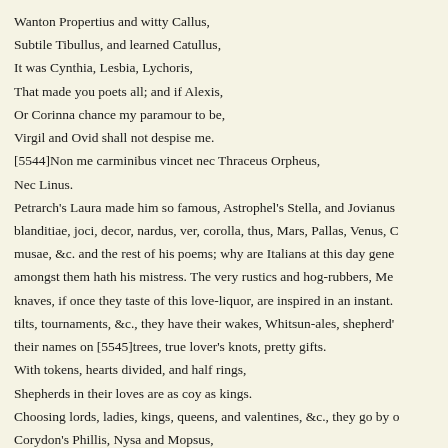Wanton Propertius and witty Callus,
Subtile Tibullus, and learned Catullus,
It was Cynthia, Lesbia, Lychoris,
That made you poets all; and if Alexis,
Or Corinna chance my paramour to be,
Virgil and Ovid shall not despise me.
[5544]Non me carminibus vincet nec Thraceus Orpheus,
Nec Linus.
Petrarch's Laura made him so famous, Astrophel's Stella, and Jovianus blanditiae, joci, decor, nardus, ver, corolla, thus, Mars, Pallas, Venus, C musae, &c. and the rest of his poems; why are Italians at this day gene amongst them hath his mistress. The very rustics and hog-rubbers, Me knaves, if once they taste of this love-liquor, are inspired in an instant. tilts, tournaments, &c., they have their wakes, Whitsun-ales, shepherd' their names on [5545]trees, true lover's knots, pretty gifts.
With tokens, hearts divided, and half rings,
Shepherds in their loves are as coy as kings.
Choosing lords, ladies, kings, queens, and valentines, &c., they go by o
Corydon's Phillis, Nysa and Mopsus,
With dainty Dousibel and Sir Tophus.
Instead of odes, epigrams and elegies, &c., they have their ballads, cou Bess a belle, she doth excel,—they must write likewise and indite all i [5546]Thou honeysuckle of the hawthorn hedge,
Vouchsafe in Cupid's cup my heart to pledge;